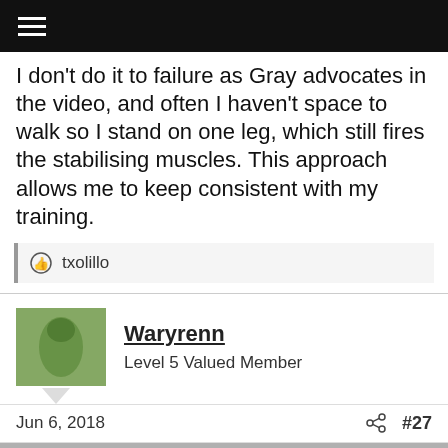Navigation bar with hamburger menu
I don't do it to failure as Gray advocates in the video, and often I haven't space to walk so I stand on one leg, which still fires the stabilising muscles. This approach allows me to keep consistent with my training.
txolillo
Waryrenn
Level 5 Valued Member
Jun 6, 2018  #27
This site uses cookies to help personalise content, tailor your experience and to keep you logged in if you register.
By continuing to use this site, you are consenting to our use of cookies.